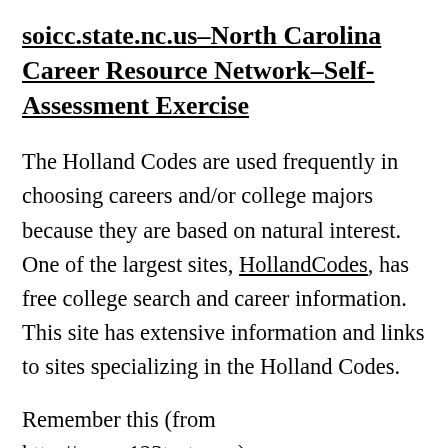soicc.state.nc.us–North Carolina Career Resource Network–Self-Assessment Exercise
The Holland Codes are used frequently in choosing careers and/or college majors because they are based on natural interest. One of the largest sites, HollandCodes, has free college search and career information. This site has extensive information and links to sites specializing in the Holland Codes.
Remember this (from http://www.123test.com):
“”An easy way to remember the Holland Codes is